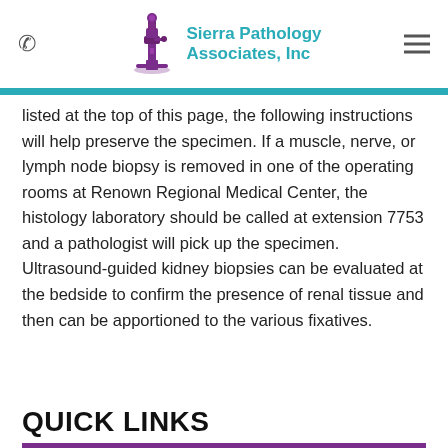Sierra Pathology Associates, Inc
listed at the top of this page, the following instructions will help preserve the specimen. If a muscle, nerve, or lymph node biopsy is removed in one of the operating rooms at Renown Regional Medical Center, the histology laboratory should be called at extension 7753 and a pathologist will pick up the specimen. Ultrasound-guided kidney biopsies can be evaluated at the bedside to confirm the presence of renal tissue and then can be apportioned to the various fixatives.
QUICK LINKS